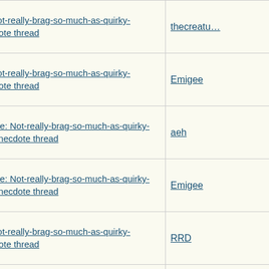| Topic | Author |
| --- | --- |
| Re: Not-really-brag-so-much-as-quirky-anecdote thread | thecreatu… |
| Re: Not-really-brag-so-much-as-quirky-anecdote thread | Emigee |
| Re: Not-really-brag-so-much-as-quirky-anecdote thread | aeh |
| Re: Not-really-brag-so-much-as-quirky-anecdote thread | Emigee |
| Re: Not-really-brag-so-much-as-quirky-anecdote thread | RRD |
| Re: Not-really-brag-so-much-as-quirky-anecdote thread | aeh |
| Re: Not-really-brag-so-much-as-quirky-anecdote thread | LazyMum… |